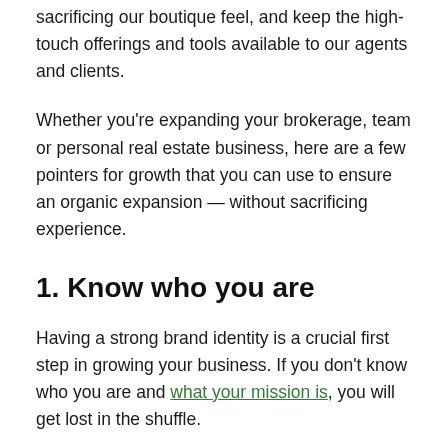sacrificing our boutique feel, and keep the high-touch offerings and tools available to our agents and clients.
Whether you're expanding your brokerage, team or personal real estate business, here are a few pointers for growth that you can use to ensure an organic expansion — without sacrificing experience.
1. Know who you are
Having a strong brand identity is a crucial first step in growing your business. If you don't know who you are and what your mission is, you will get lost in the shuffle.
To expand your footprint and scale your business, you